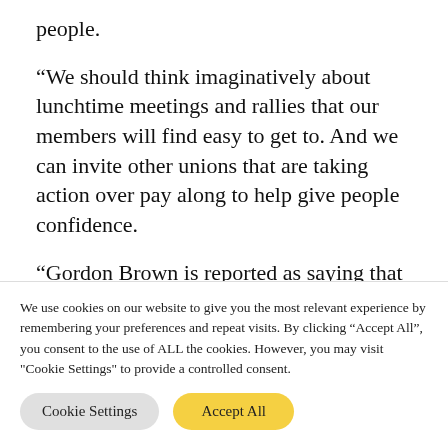people.
“We should think imaginatively about lunchtime meetings and rallies that our members will find easy to get to. And we can invite other unions that are taking action over pay along to help give people confidence.
“Gordon Brown is reported as saying that he wants three years of pay restraint. In reality
We use cookies on our website to give you the most relevant experience by remembering your preferences and repeat visits. By clicking “Accept All”, you consent to the use of ALL the cookies. However, you may visit "Cookie Settings" to provide a controlled consent.